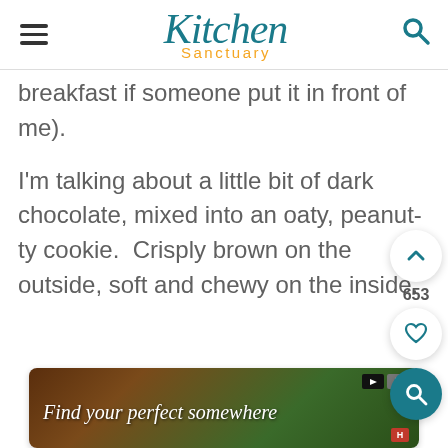Kitchen Sanctuary
breakfast if someone put it in front of me).
I'm talking about a little bit of dark chocolate, mixed into an oaty, peanut-ty cookie.  Crisply brown on the outside, soft and chewy on the inside.
[Figure (screenshot): Advertisement banner: 'Find your perfect somewhere' with dark brown and green background, media controls and H badge]